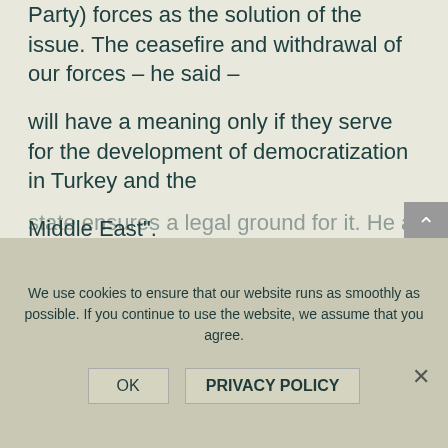Party) forces as the solution of the issue. The ceasefire and withdrawal of our forces – he said –
will have a meaning only if they serve for the development of democratization in Turkey and the Middle East".
Reminding of the previous guerrillas withdrawal in 1999 when guerrilla forces suffered attacks,
deaths and arrests, Bayik pointed out that the withdrawal of guerillas will not take place unless the
state ensures a legal ground for it. He argued that
We use cookies to ensure that our website runs as smoothly as possible. If you continue to use the website, we assume that you agree.